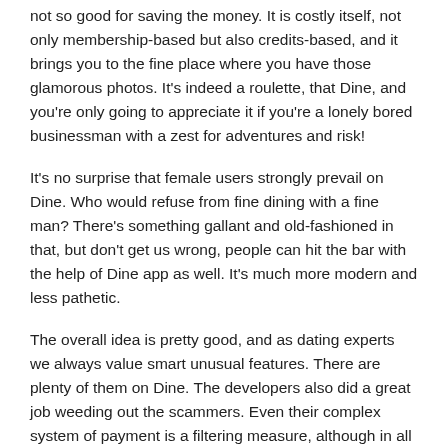not so good for saving the money. It is costly itself, not only membership-based but also credits-based, and it brings you to the fine place where you have those glamorous photos. It's indeed a roulette, that Dine, and you're only going to appreciate it if you're a lonely bored businessman with a zest for adventures and risk!
It's no surprise that female users strongly prevail on Dine. Who would refuse from fine dining with a fine man? There's something gallant and old-fashioned in that, but don't get us wrong, people can hit the bar with the help of Dine app as well. It's much more modern and less pathetic.
The overall idea is pretty good, and as dating experts we always value smart unusual features. There are plenty of them on Dine. The developers also did a great job weeding out the scammers. Even their complex system of payment is a filtering measure, although in all other cases we would call it a warning sign. Another strong side of the app is technical: it works well, without freezing, crashing, or showing errors on every step. The only annoying thing is a big number of unnecessary notifications that are popping up all the time. But to be honest, it's nothing in comparison with the ads and bots torturing the users on other platforms.
Dine team still has to work more on the base of members, attracting